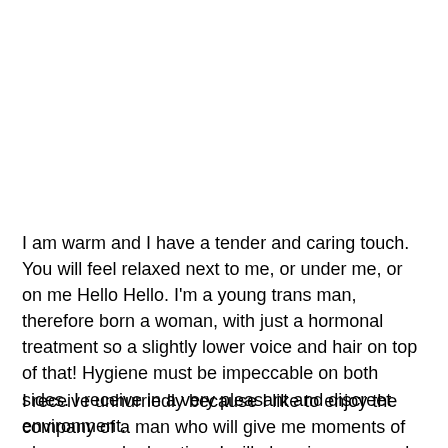I am warm and I have a tender and caring touch. You will feel relaxed next to me, or under me, or on me Hello Hello. I'm a young trans man, therefore born a woman, with just a hormonal treatment so a slightly lower voice and hair on top of that! Hygiene must be impeccable on both sides. I receive in a very pleasant and discreet environment.
I receive unhurriedly because I like to enjoy the company of a man who will give me moments of pleasure and relaxation. I will also give you good memories of our